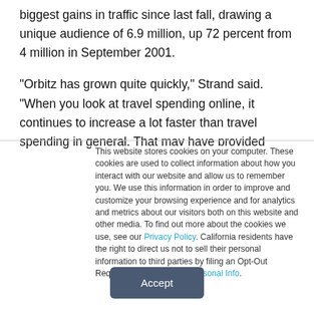biggest gains in traffic since last fall, drawing a unique audience of 6.9 million, up 72 percent from 4 million in September 2001.
“Orbitz has grown quite quickly,” Strand said. “When you look at travel spending online, it continues to increase a lot faster than travel spending in general. That may have provided
This website stores cookies on your computer. These cookies are used to collect information about how you interact with our website and allow us to remember you. We use this information in order to improve and customize your browsing experience and for analytics and metrics about our visitors both on this website and other media. To find out more about the cookies we use, see our Privacy Policy. California residents have the right to direct us not to sell their personal information to third parties by filing an Opt-Out Request: Do Not Sell My Personal Info.